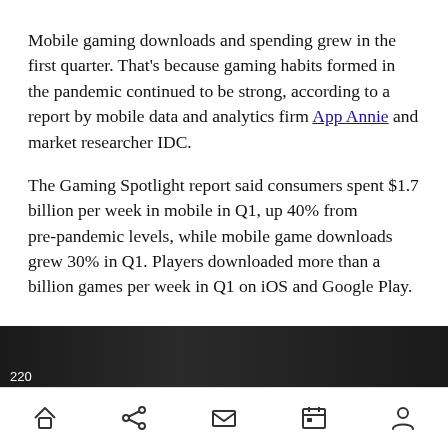Mobile gaming downloads and spending grew in the first quarter. That's because gaming habits formed in the pandemic continued to be strong, according to a report by mobile data and analytics firm App Annie and market researcher IDC.
The Gaming Spotlight report said consumers spent $1.7 billion per week in mobile in Q1, up 40% from pre-pandemic levels, while mobile game downloads grew 30% in Q1. Players downloaded more than a billion games per week in Q1 on iOS and Google Play.
[Figure (photo): Dark image strip partially visible at bottom of article content area, showing partial text '220' in white]